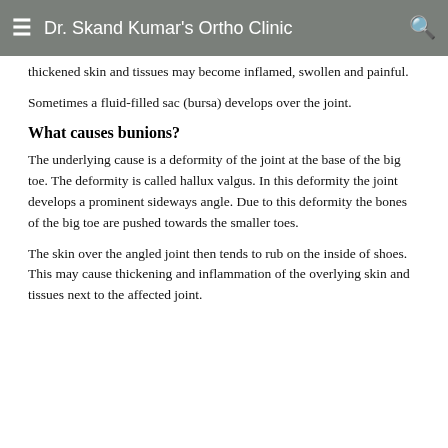Dr. Skand Kumar's Ortho Clinic
thickened skin and tissues may become inflamed, swollen and painful.
Sometimes a fluid-filled sac (bursa) develops over the joint.
What causes bunions?
The underlying cause is a deformity of the joint at the base of the big toe. The deformity is called hallux valgus. In this deformity the joint develops a prominent sideways angle. Due to this deformity the bones of the big toe are pushed towards the smaller toes.
The skin over the angled joint then tends to rub on the inside of shoes. This may cause thickening and inflammation of the overlying skin and tissues next to the affected joint.